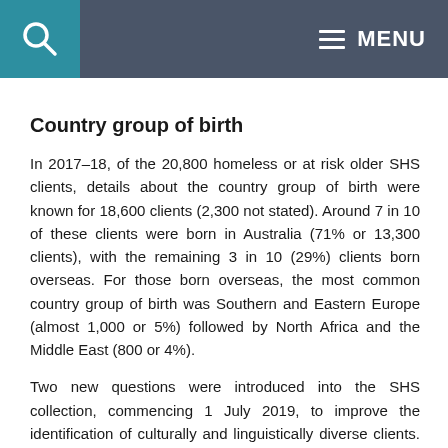MENU
Country group of birth
In 2017–18, of the 20,800 homeless or at risk older SHS clients, details about the country group of birth were known for 18,600 clients (2,300 not stated). Around 7 in 10 of these clients were born in Australia (71% or 13,300 clients), with the remaining 3 in 10 (29%) clients born overseas. For those born overseas, the most common country group of birth was Southern and Eastern Europe (almost 1,000 or 5%) followed by North Africa and the Middle East (800 or 4%).
Two new questions were introduced into the SHS collection, commencing 1 July 2019, to improve the identification of culturally and linguistically diverse clients. Main language other than English spoken at home identifies whether the client speaks a language other than English at home. Proficiency in